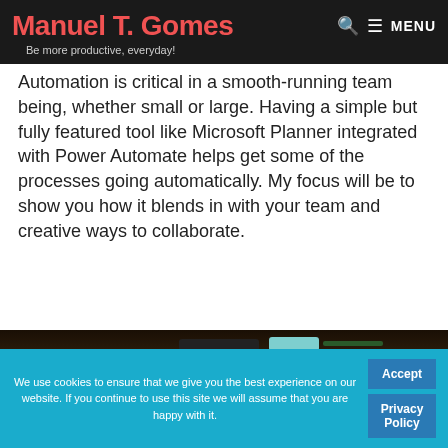Manuel T. Gomes — Be more productive, everyday!
Automation is critical in a smooth-running team being, whether small or large. Having a simple but fully featured tool like Microsoft Planner integrated with Power Automate helps get some of the processes going automatically. My focus will be to show you how it blends in with your team and creative ways to collaborate.
[Figure (photo): A weekly planner notebook open on a wooden desk with handwritten day labels (Monday, Tuesday, Wednesday, Thursday) and office items such as a pencil and markers on top.]
We use cookies to ensure that we give you the best experience on our website. If you continue to use this site we will assume that you are happy with it.